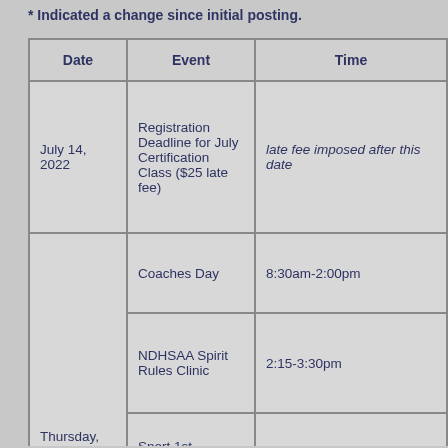* Indicated a change since initial posting.
| Date | Event | Time |
| --- | --- | --- |
| July 14, 2022 | Registration Deadline for July Certification Class ($25 late fee) | late fee imposed after this date |
| Thursday, July 28, 2022 | Coaches Day | 8:30am-2:00pm |
| Thursday, July 28, 2022 | NDHSAA Spirit Rules Clinic | 2:15-3:30pm |
| Thursday, July 28, 2022 | Sport 1st Aid/Stunt |  |